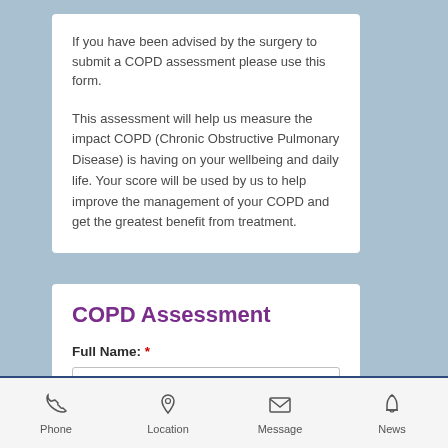If you have been advised by the surgery to submit a COPD assessment please use this form.
This assessment will help us measure the impact COPD (Chronic Obstructive Pulmonary Disease) is having on your wellbeing and daily life. Your score will be used by us to help improve the management of your COPD and get the greatest benefit from treatment.
COPD Assessment
Full Name: *
Phone   Location   Message   News